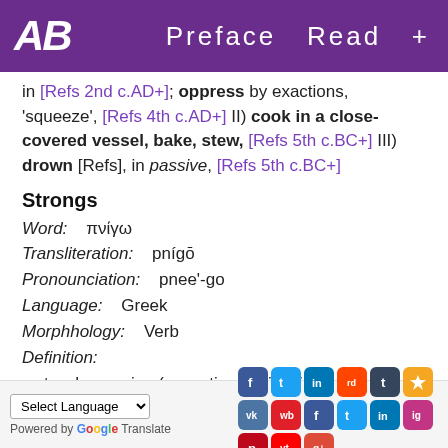AB   Preface  Read  +
in [Refs 2nd c.AD+]; oppress by exactions, 'squeeze', [Refs 4th c.AD+] II) cook in a close-covered vessel, bake, stew, [Refs 5th c.BC+] III) drown [Refs], in passive, [Refs 5th c.BC+]
Strongs
Word:   πνίγω
Transliteration:   pnígō
Pronounciation:   pnee'-go
Language:   Greek
Morphhology:   Verb
Definition:
   to wheeze, i.e. (causative, by implication) to throttle or strangle (drown); choke, take by the throat; strengthened from g4154 (πνέω);
Select Language  |  Powered by Google Translate  |  [Social icons]